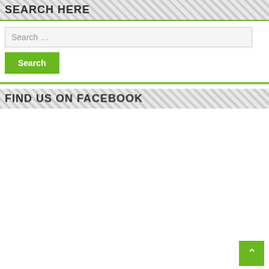SEARCH HERE
Search ...
Search
FIND US ON FACEBOOK
[Figure (other): Empty Facebook widget area with white background]